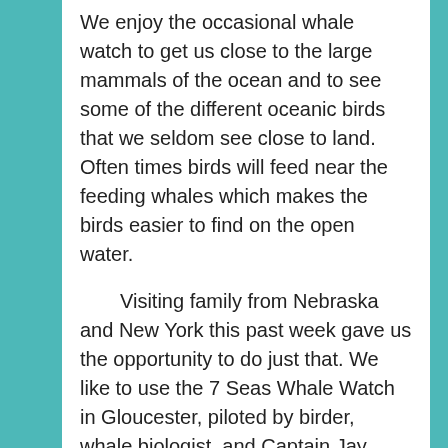We enjoy the occasional whale watch to get us close to the large mammals of the ocean and to see some of the different oceanic birds that we seldom see close to land. Often times birds will feed near the feeding whales which makes the birds easier to find on the open water.
Visiting family from Nebraska and New York this past week gave us the opportunity to do just that. We like to use the 7 Seas Whale Watch in Gloucester, piloted by birder, whale biologist, and Captain Jay Frontierro. Jay, along with his naturalists and crew share their knowledge of the birds and mammals of the seas.
As we boarded the boat, Jay did forewarn me that there were not many tubenoses so far this